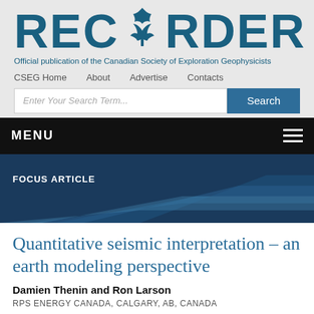[Figure (logo): RECORDER logo with maple leaf/fish icon, text in teal blue]
Official publication of the Canadian Society of Exploration Geophysicists
CSEG Home   About   Advertise   Contacts
Enter Your Search Term...  Search
MENU
FOCUS ARTICLE
Quantitative seismic interpretation – an earth modeling perspective
Damien Thenin and Ron Larson
RPS ENERGY CANADA, CALGARY, AB, CANADA